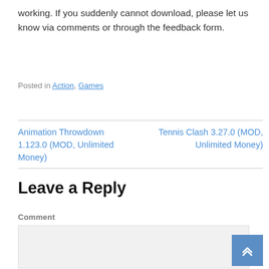working. If you suddenly cannot download, please let us know via comments or through the feedback form.
Posted in Action, Games
Animation Throwdown 1.123.0 (MOD, Unlimited Money)
Tennis Clash 3.27.0 (MOD, Unlimited Money)
Leave a Reply
Comment